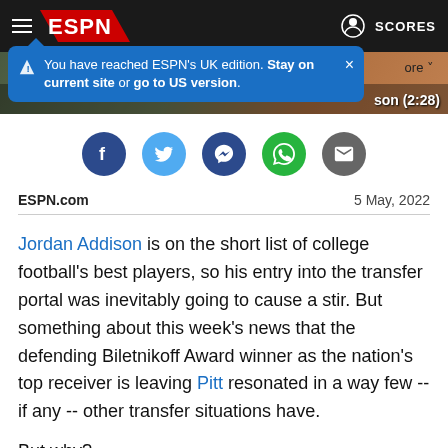[Figure (screenshot): ESPN navigation bar with hamburger menu, ESPN logo, and SCORES button on dark background]
You have reached ESPN's UK edition. Stay on current site or go to US version.
[Figure (photo): Sports photo with text overlay showing '...son (2:28)']
[Figure (infographic): Social sharing icons: Facebook, Twitter, Messenger, WhatsApp, Email]
ESPN.com    5 May, 2022
Jordan Addison is on the short list of college football's best players, so his entry into the transfer portal was inevitably going to cause a stir. But something about this week's news that the defending Biletnikoff Award winner as the nation's top receiver is leaving Pitt resonated in a way few -- if any -- other transfer situations have.
But why?